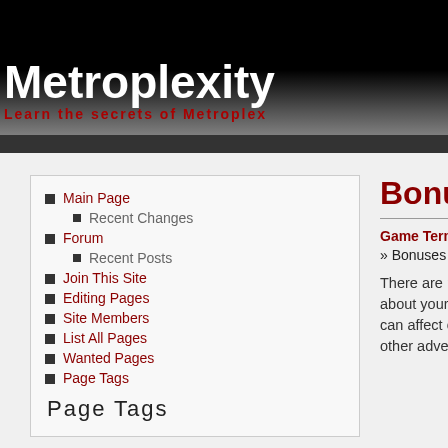Metroplexity
Learn the secrets of Metroplex
Main Page
Recent Changes
Forum
Recent Posts
Join This Site
Editing Pages
Site Members
List All Pages
Wanted Pages
Page Tags
Page Tags
Bonuses
Game Terms
» Bonuses
There are many statistics about your character which can affect combat and your other adventures